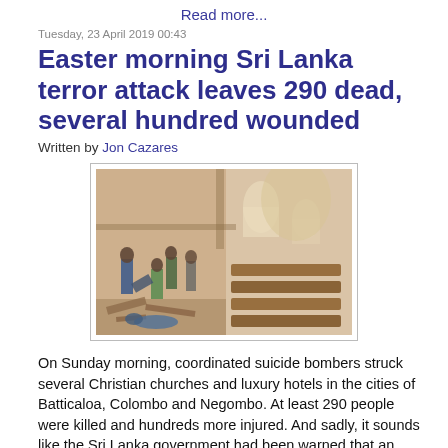Read more...
Tuesday, 23 April 2019 00:43
Easter morning Sri Lanka terror attack leaves 290 dead, several hundred wounded
Written by Jon Cazares
[Figure (photo): Interior of a damaged church after bomb attack in Sri Lanka, showing debris, overturned pews, and people amid destruction.]
On Sunday morning, coordinated suicide bombers struck several Christian churches and luxury hotels in the cities of Batticaloa, Colombo and Negombo. At least 290 people were killed and hundreds more injured. And sadly, it sounds like the Sri Lanka government had been warned that an attack like this